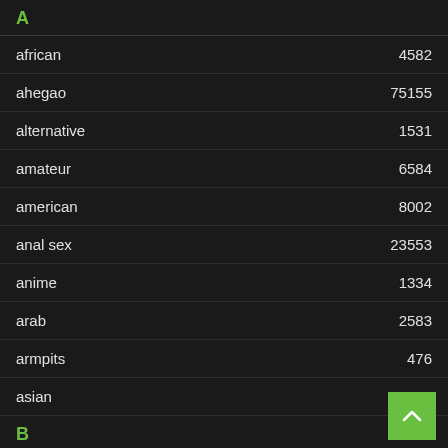A
| Category | Count |
| --- | --- |
| african | 4582 |
| ahegao | 75155 |
| alternative | 1531 |
| amateur | 6584 |
| american | 8002 |
| anal sex | 23553 |
| anime | 1334 |
| arab | 2583 |
| armpits | 476 |
| asian | 26082 |
B
| Category | Count |
| --- | --- |
| babe | 603 |
| bbc | 651 |
| bbw |  |